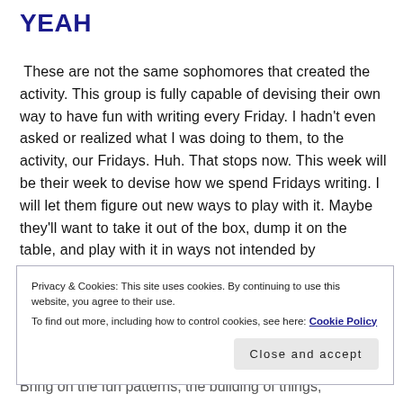YEAH
These are not the same sophomores that created the activity. This group is fully capable of devising their own way to have fun with writing every Friday. I hadn't even asked or realized what I was doing to them, to the activity, our Fridays. Huh. That stops now. This week will be their week to devise how we spend Fridays writing. I will let them figure out new ways to play with it. Maybe they'll want to take it out of the box, dump it on the table, and play with it in ways not intended by
Privacy & Cookies: This site uses cookies. By continuing to use this website, you agree to their use.
To find out more, including how to control cookies, see here: Cookie Policy
[Close and accept button]
Bring on the fun patterns, the building of things,